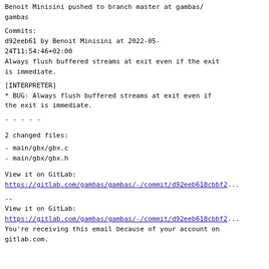Benoit Minisini pushed to branch master at gambas/gambas
Commits:
d92eeb61 by Benoit Minisini at 2022-05-24T11:54:46+02:00
Always flush buffered streams at exit even if the exit is immediate.
[INTERPRETER]
* BUG: Always flush buffered streams at exit even if the exit is immediate.
- - - - -
2 changed files:
- main/gbx/gbx.c
- main/gbx/gbx.h
View it on GitLab:
https://gitlab.com/gambas/gambas/-/commit/d92eeb618cbbf2...
--
View it on GitLab:
https://gitlab.com/gambas/gambas/-/commit/d92eeb618cbbf2...
You're receiving this email because of your account on gitlab.com.